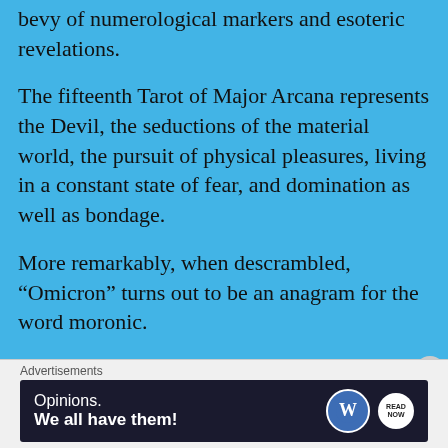bevy of numerological markers and esoteric revelations.
The fifteenth Tarot of Major Arcana represents the Devil, the seductions of the material world, the pursuit of physical pleasures, living in a constant state of fear, and domination as well as bondage.
More remarkably, when descrambled, “Omicron” turns out to be an anagram for the word moronic.
Perhaps, the thirteen, ruling elite Jesuit families are referring to individuals such as those observed in the following video excerpt.
[Figure (photo): Partial view of a video excerpt thumbnail]
Advertisements
[Figure (other): WordPress advertisement banner reading 'Opinions. We all have them!']